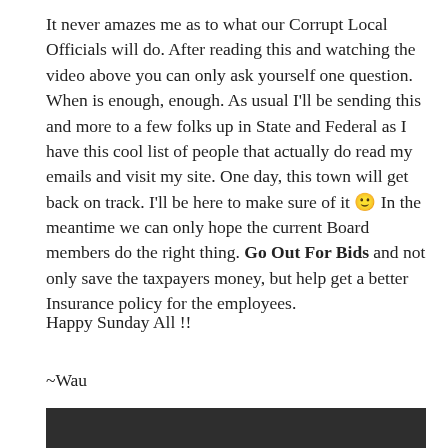It never amazes me as to what our Corrupt Local Officials will do. After reading this and watching the video above you can only ask yourself one question. When is enough, enough. As usual I'll be sending this and more to a few folks up in State and Federal as I have this cool list of people that actually do read my emails and visit my site. One day, this town will get back on track. I'll be here to make sure of it 🙂 In the meantime we can only hope the current Board members do the right thing. Go Out For Bids and not only save the taxpayers money, but help get a better Insurance policy for the employees.
Happy Sunday All !!
~Wau
[Figure (other): Dark/black rectangular area at bottom of page, appears to be a video embed or image placeholder]